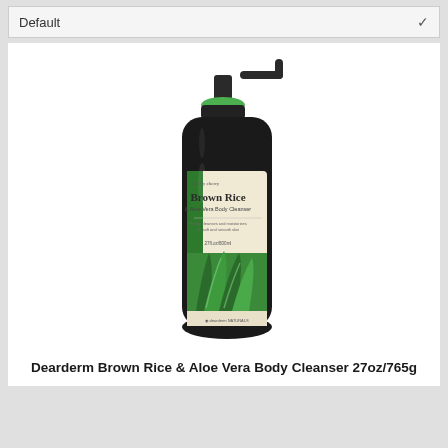Default
[Figure (photo): Product photo of Dearderm Brown Rice & Aloe Vera Body Cleanser pump bottle (black bottle with green and cream label showing aloe vera plant, pump dispenser with green top)]
Dearderm Brown Rice & Aloe Vera Body Cleanser 27oz/765g